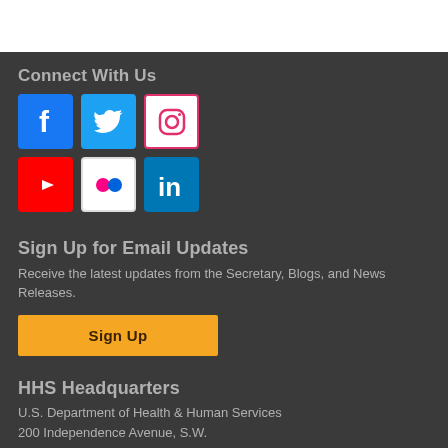Connect With Us
[Figure (infographic): Six social media icons in a 3x2 grid: Facebook (blue), Twitter (blue), Instagram (white/pink), YouTube (red), Flickr (white with colored dots), LinkedIn (blue)]
Sign Up for Email Updates
Receive the latest updates from the Secretary, Blogs, and News Releases.
Sign Up
HHS Headquarters
U.S. Department of Health & Human Services
200 Independence Avenue, S.W.
Washington, D.C. 20201